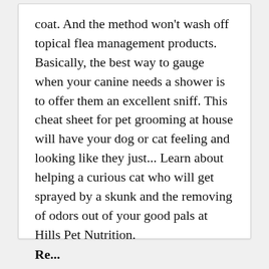coat. And the method won't wash off topical flea management products. Basically, the best way to gauge when your canine needs a shower is to offer them an excellent sniff. This cheat sheet for pet grooming at house will have your dog or cat feeling and looking like they just... Learn about helping a curious cat who will get sprayed by a skunk and the removing of odors out of your good pals at Hills Pet Nutrition.
Re...